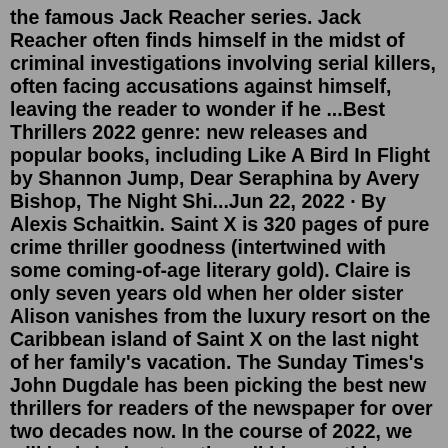the famous Jack Reacher series. Jack Reacher often finds himself in the midst of criminal investigations involving serial killers, often facing accusations against himself, leaving the reader to wonder if he ...Best Thrillers 2022 genre: new releases and popular books, including Like A Bird In Flight by Shannon Jump, Dear Seraphina by Avery Bishop, The Night Shi...Jun 22, 2022 · By Alexis Schaitkin. Saint X is 320 pages of pure crime thriller goodness (intertwined with some coming-of-age literary gold). Claire is only seven years old when her older sister Alison vanishes from the luxury resort on the Caribbean island of Saint X on the last night of her family's vacation. The Sunday Times's John Dugdale has been picking the best new thrillers for readers of the newspaper for over two decades now. In the course of 2022, we will be bringing together all his monthly ...(Photo by GKids/courtesy Everett Collection) Best Movies of 2022, Ranked by Tomatometer. Welcome to the best-reviewed movies of 2022! Every week, we add the latest Certified Fresh films across all genres and